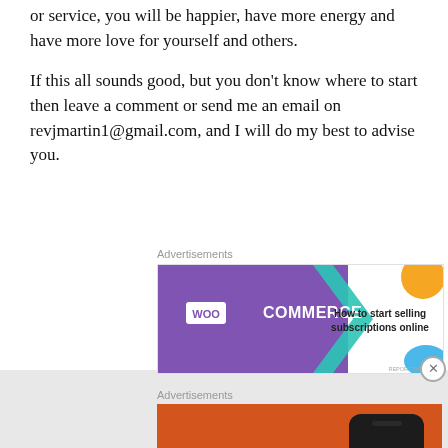your knowledge and passion about a topic, product, or service, you will be happier, have more energy and have more love for yourself and others.
If this all sounds good, but you don't know where to start then leave a comment or send me an email on revjmartin1@gmail.com, and I will do my best to advise you.
[Figure (other): WooCommerce advertisement banner: 'How to start selling subscriptions online']
[Figure (other): DuckDuckGo advertisement banner: 'Search, browse, and email with more privacy. All in One Free App']